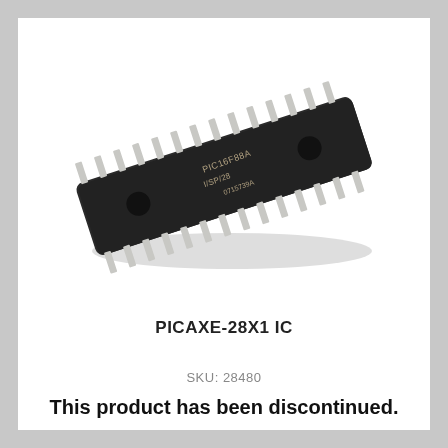[Figure (photo): Photo of a PICAXE-28X1 DIP IC chip (black rectangular package with silver pins on both sides, oriented diagonally, with Microchip logo and part number text visible on top surface)]
PICAXE-28X1 IC
SKU: 28480
This product has been discontinued.